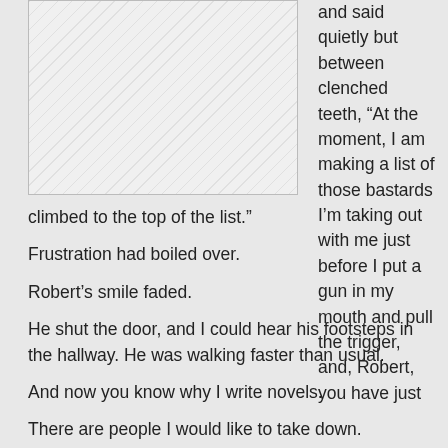[Figure (illustration): A rectangular image placeholder with diagonal stripe pattern, positioned in the upper left of the page.]
and said quietly but between clenched teeth, “At the moment, I am making a list of those bastards I’m taking out with me just before I put a gun in my mouth and pull the trigger, and, Robert, you have just climbed to the top of the list.”
Frustration had boiled over.
Robert’s smile faded.
He shut the door, and I could hear his footsteps in the hallway. He was walking faster than usual.
And now you know why I write novels.
There are people I would like to take down.
But I won’t.
There are people who make me mad enough to shoot them